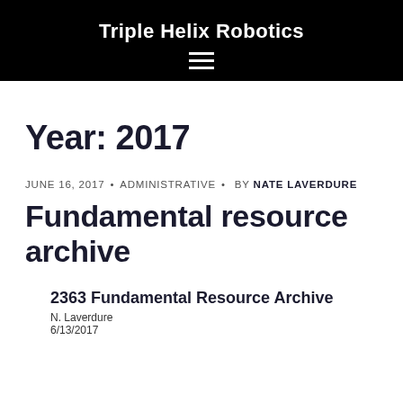Triple Helix Robotics
Year: 2017
JUNE 16, 2017 • ADMINISTRATIVE • BY NATE LAVERDURE
Fundamental resource archive
2363 Fundamental Resource Archive
N. Laverdure
6/13/2017